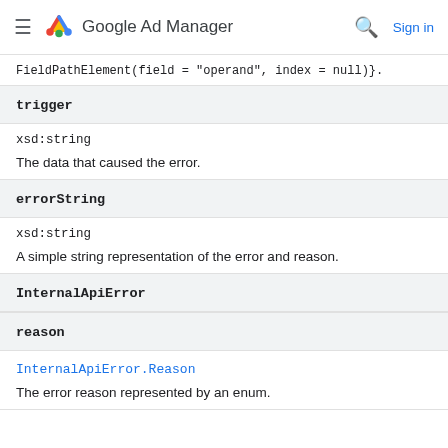Google Ad Manager
FieldPathElement(field = "operand", index = null)}.
trigger
xsd:string
The data that caused the error.
errorString
xsd:string
A simple string representation of the error and reason.
InternalApiError
reason
InternalApiError.Reason
The error reason represented by an enum.